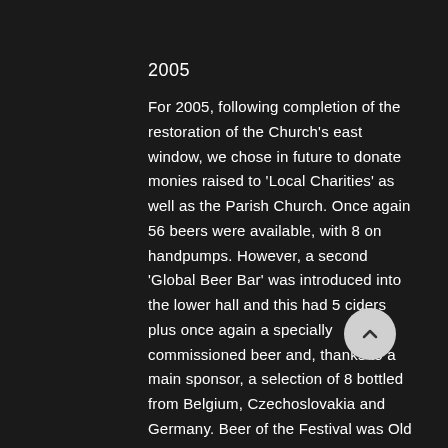2005
For 2005, following completion of the restoration of the Church's east window, we chose in future to donate monies raised to 'Local Charities' as well as the Parish Church. Once again 56 beers were available, with 8 on handpumps. However, a second 'Global Beer Bar' was introduced into the lower hall and this had 5 ciders plus once again a specially commissioned beer and, thanks to a main sponsor, a selection of 8 bottled from Belgium, Czechoslovakia and Germany. Beer of the Festival was Old Bear 4.5% RATS Blood.